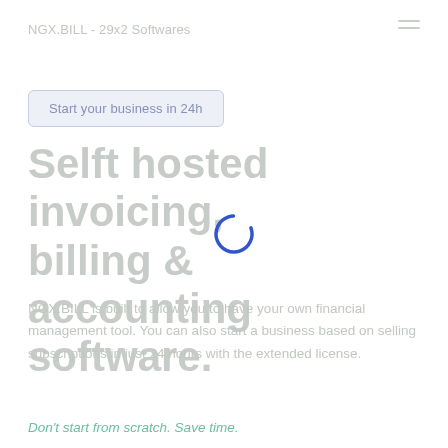NGX.BILL - 29x2 Softwares
Start your business in 24h
Selft hosted invoicing, billing & accounting software.
[Figure (other): Loading spinner - blue arc/circle spinner overlay on top of the title text]
NGX.BILL is built to allow you to have your own financial management tool. You can also start a business based on selling subscriptions in just 24 hours with the extended license.
Don't start from scratch. Save time.